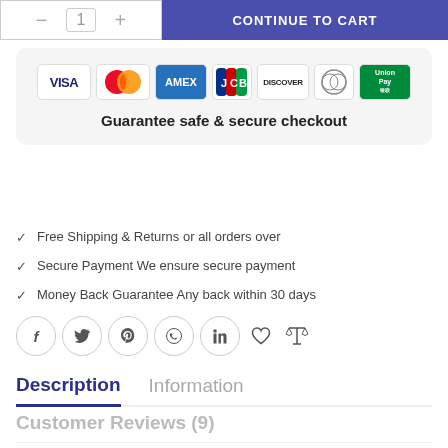[Figure (other): Quantity selector box with minus and plus buttons, and a blue checkout button]
[Figure (other): Secure checkout panel showing payment card logos: VISA, Mastercard, AMEX, JCB, DISCOVER, Diners Club, UnionPay]
Guarantee safe & secure checkout
Free Shipping & Returns or all orders over
Secure Payment We ensure secure payment
Money Back Guarantee Any back within 30 days
[Figure (other): Social share icons row: Facebook, Twitter, Pinterest, WhatsApp, LinkedIn, heart/wishlist, compare icons]
Description
Information
Customer Reviews (9)